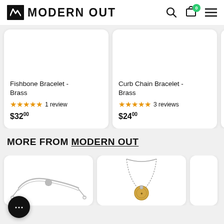MODERN OUT - navigation header with search, cart (0), and menu icons
Fishbone Bracelet - Brass
★★★★★ 1 review
$32.00
Curb Chain Bracelet - Brass
★★★★★ 3 reviews
$24.00
Togg... Black
★★★★☆
$32.00
MORE FROM MODERN OUT
[Figure (photo): Bracelet product image thumbnail - silver adjustable bracelet]
[Figure (photo): Necklace product image - round coin pendant on chain, gold and silver tones]
[Figure (photo): Partial third product card image - cropped]